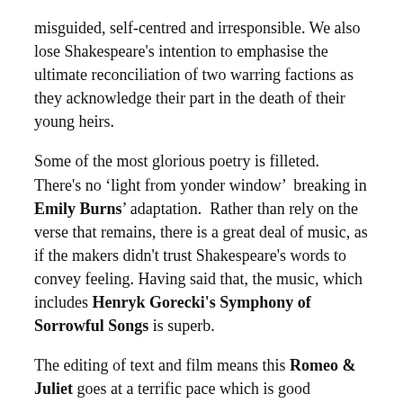misguided, self-centred and irresponsible. We also lose Shakespeare's intention to emphasise the ultimate reconciliation of two warring factions as they acknowledge their part in the death of their young heirs.
Some of the most glorious poetry is filleted. There's no 'light from yonder window'  breaking in Emily Burns' adaptation.  Rather than rely on the verse that remains, there is a great deal of music, as if the makers didn't trust Shakespeare's words to convey feeling. Having said that, the music, which includes Henryk Gorecki's Symphony of Sorrowful Songs is superb.
The editing of text and film means this Romeo & Juliet goes at a terrific pace which is good because, in this play, you need to be carried along by the speed with which the youngsters fall deeply in love, get married and (spoiler alert) commit suicide.